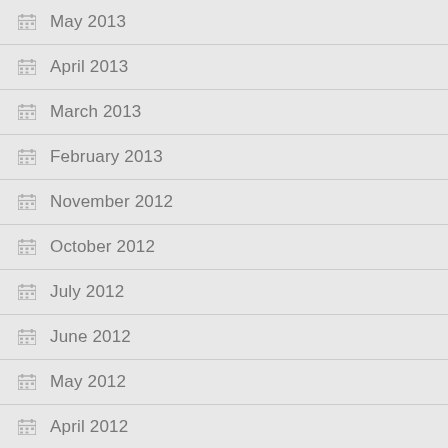May 2013
April 2013
March 2013
February 2013
November 2012
October 2012
July 2012
June 2012
May 2012
April 2012